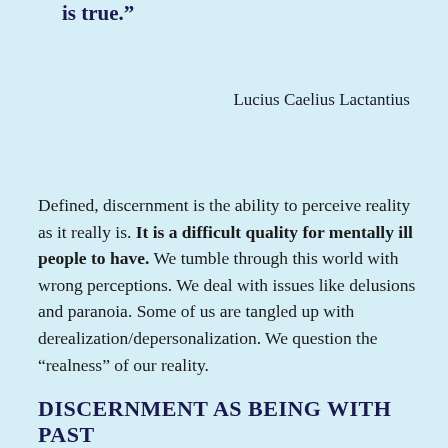is true.”
Lucius Caelius Lactantius
Defined, discernment is the ability to perceive reality as it really is. It is a difficult quality for mentally ill people to have. We tumble through this world with wrong perceptions. We deal with issues like delusions and paranoia. Some of us are tangled up with derealization/depersonalization. We question the “realness” of our reality.
DISCERNMENT AS BEING WITH PEACE